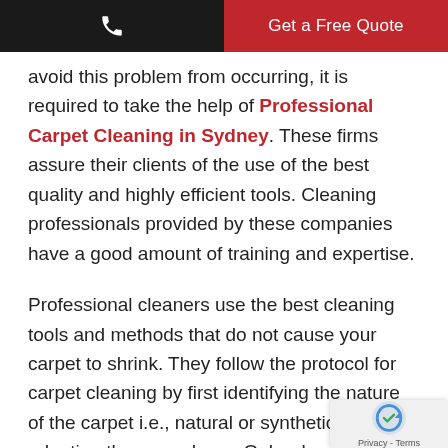Get a Free Quote
avoid this problem from occurring, it is required to take the help of Professional Carpet Cleaning in Sydney. These firms assure their clients of the use of the best quality and highly efficient tools. Cleaning professionals provided by these companies have a good amount of training and expertise.
Professional cleaners use the best cleaning tools and methods that do not cause your carpet to shrink. They follow the protocol for carpet cleaning by first identifying the nature of the carpet i.e., natural or synthetic before adopting the procedures. Only when they find that the carpet is fully compatible with the tools and